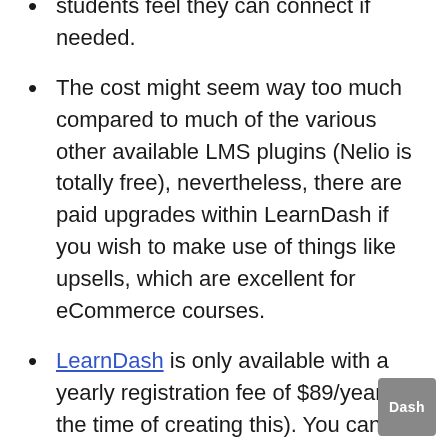students feel they can connect if needed.
The cost might seem way too much compared to much of the various other available LMS plugins (Nelio is totally free), nevertheless, there are paid upgrades within LearnDash if you wish to make use of things like upsells, which are excellent for eCommerce courses.
LearnDash is only available with a yearly registration fee of $89/year (at the time of creating this). You can't pick pay as you go or regular monthly settlements with LearnDash which makes some people uncomfortable about spending big